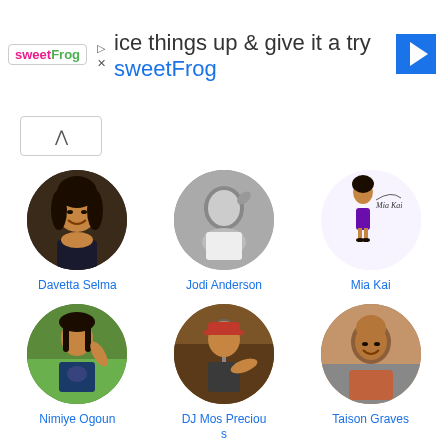[Figure (screenshot): SweetFrog advertisement banner with logo, text 'ice things up & give it a try sweetFrog', and navigation arrow icon]
[Figure (photo): Profile photo of Davetta Selma, a smiling woman with long dark hair]
Davetta Selma
[Figure (photo): Black and white profile photo of Jodi Anderson, a person with hand raised to head]
Jodi Anderson
[Figure (illustration): Cartoon avatar of Mia Kai, a stylized figure in a purple outfit with signature]
Mia Kai
[Figure (photo): Profile photo of Nimiye Ogoun, a young woman outdoors in a graphic tee]
Nimiye Ogoun
[Figure (photo): Profile photo of DJ Mos Precious, a person at microphone/DJ equipment wearing a red hat]
DJ Mos Precious
[Figure (photo): Profile photo of Taison Graves, a man smiling]
Taison Graves
[Figure (photo): Profile photo of a bald man in a suit jacket, partially cut off at bottom of page]